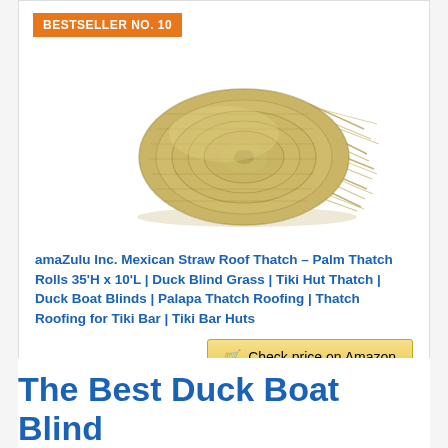BESTSELLER NO. 10
[Figure (photo): A rolled-up Mexican straw/palm thatch roofing product shown as a cylindrical roll with straw ends visible on one side.]
amaZulu Inc. Mexican Straw Roof Thatch – Palm Thatch Rolls 35'H x 10'L | Duck Blind Grass | Tiki Hut Thatch | Duck Boat Blinds | Palapa Thatch Roofing | Thatch Roofing for Tiki Bar | Tiki Bar Huts
Check price on Amazon
The Best Duck Boat Blind